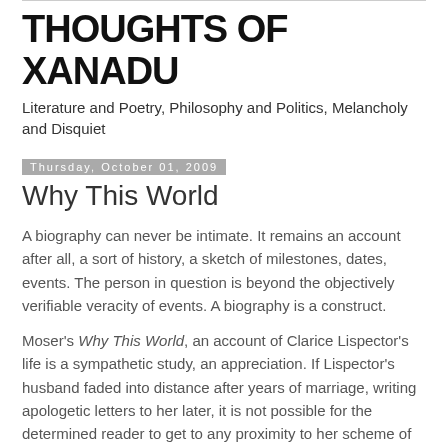THOUGHTS OF XANADU
Literature and Poetry, Philosophy and Politics, Melancholy and Disquiet
Thursday, October 01, 2009
Why This World
A biography can never be intimate. It remains an account after all, a sort of history, a sketch of milestones, dates, events. The person in question is beyond the objectively verifiable veracity of events. A biography is a construct.
Moser's Why This World, an account of Clarice Lispector's life is a sympathetic study, an appreciation. If Lispector's husband faded into distance after years of marriage, writing apologetic letters to her later, it is not possible for the determined reader to get to any proximity to her scheme of things. Lispector was shrouded in mystery when well known